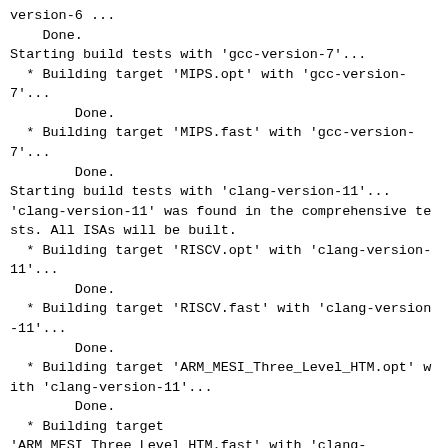version-6 ...
    Done.
Starting build tests with 'gcc-version-7'...
  * Building target 'MIPS.opt' with 'gcc-version-7'...
        Done.
  * Building target 'MIPS.fast' with 'gcc-version-7'...
        Done.
Starting build tests with 'clang-version-11'...
'clang-version-11' was found in the comprehensive tests. All ISAs will be built.
  * Building target 'RISCV.opt' with 'clang-version-11'...
        Done.
  * Building target 'RISCV.fast' with 'clang-version-11'...
        Done.
  * Building target 'ARM_MESI_Three_Level_HTM.opt' with 'clang-version-11'...
        Done.
  * Building target
'ARM_MESI_Three_Level_HTM.fast' with 'clang-